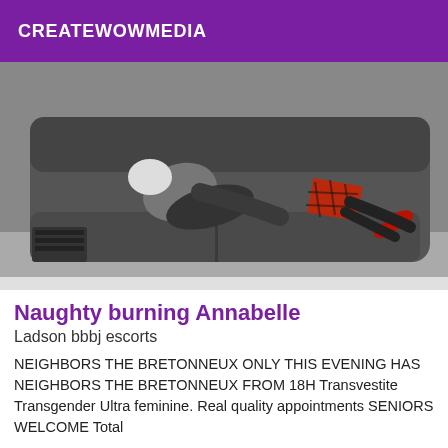CREATEWOWMEDIA
[Figure (photo): Black and white photo of two people on a dark leather couch/sofa, one wearing a red plaid skirt and red high heels.]
Naughty burning Annabelle
Ladson bbbj escorts
NEIGHBORS THE BRETONNEUX ONLY THIS EVENING HAS NEIGHBORS THE BRETONNEUX FROM 18H Transvestite Transgender Ultra feminine. Real quality appointments SENIORS WELCOME Total